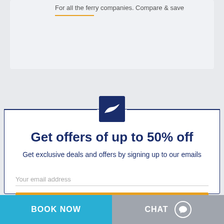For all the ferry companies. Compare & save
Get offers of up to 50% off
Get exclusive deals and offers by signing up to our emails
Your email address
BOOK NOW
CHAT